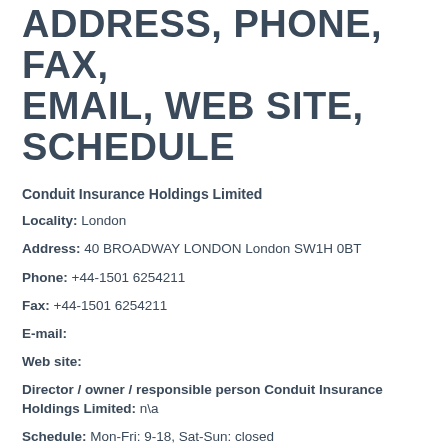ADDRESS, PHONE, FAX, EMAIL, WEB SITE, SCHEDULE
Conduit Insurance Holdings Limited
Locality: London
Address: 40 BROADWAY LONDON London SW1H 0BT
Phone: +44-1501 6254211
Fax: +44-1501 6254211
E-mail:
Web site:
Director / owner / responsible person Conduit Insurance Holdings Limited: n\a
Schedule: Mon-Fri: 9-18, Sat-Sun: closed
Find error in description or want add more information on you